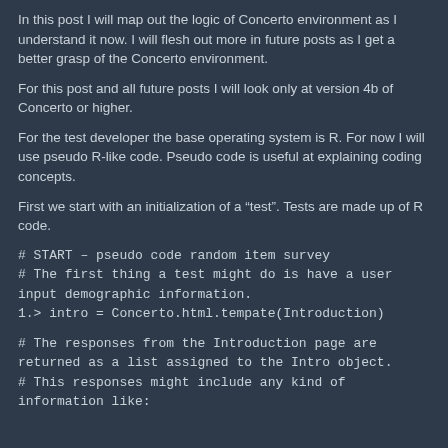In this post I will map out the logic of Concerto environment as I understand it now.  I will flesh out more in future posts as I get a better grasp of the Concerto environment.
For this post and all future posts I will look only at version 4b of Concerto or higher.
For the test developer the base operating system is R.  For now I will use pseudo R-like code.  Pseudo code is useful at explaining coding concepts.
First we start with an initialization of a “test”.  Tests are made up of R code.
# START – pseudo code random item survey
# The first thing a test might do is have a user input demographic information.
1.> intro = Concerto.html.tempate(Introduction)
# The responses from the Introduction page are returned as a list assigned to the Intro object.
# This responses might include any kind of information like: